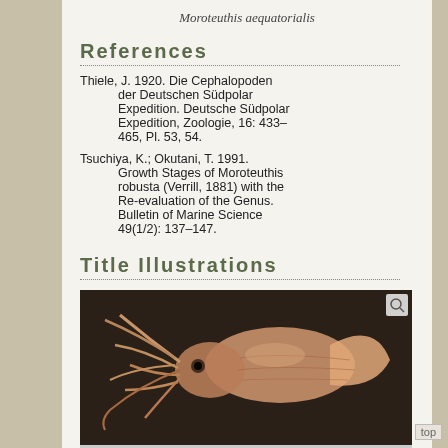Moroteuthis aequatorialis
References
Thiele, J. 1920. Die Cephalopoden der Deutschen Südpolar Expedition. Deutsche Südpolar Expedition, Zoologie, 16: 433–465, Pl. 53, 54.
Tsuchiya, K.; Okutani, T. 1991. Growth Stages of Moroteuthis robusta (Verrill, 1881) with the Re-evaluation of the Genus. Bulletin of Marine Science 49(1/2): 137–147.
Title Illustrations
[Figure (photo): Photograph of a preserved squid specimen (Moroteuthis aequatorialis) laid on a dark background, showing tentacles and body.]
Scientific Name: Moroteuthis aequatorialis; Location: Equatorial Atlantic, 0°16' N, 18°07' W; Specimen: Preserved